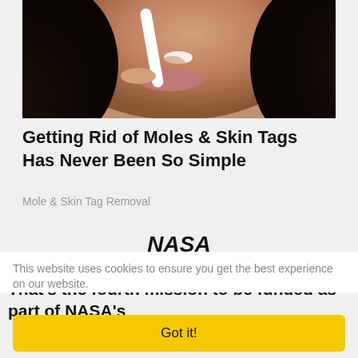[Figure (photo): Close-up photo of a woman's face with dark hair, applying or holding a white strip near her nose, with some white substance visible on her face.]
Getting Rid of Moles & Skin Tags Has Never Been So Simple
Mole & Skin Tag Removal
[Figure (logo): NASA logo text in bold italic]
That's the fourth mission to be funded as part of NASA's
This website uses cookies to ensure you get the best experience on our website.
Got it!